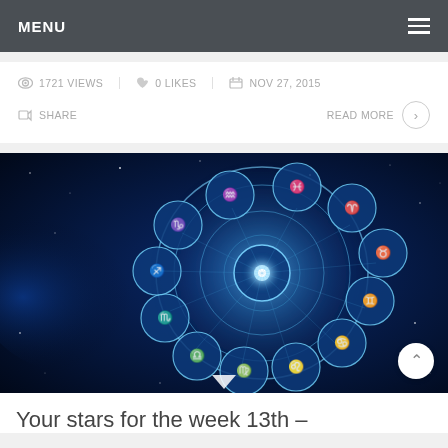MENU
1721 VIEWS | 0 LIKES | NOV 27, 2015
SHARE | READ MORE
[Figure (illustration): Glowing blue zodiac wheel with all 12 astrological signs arranged in a circle on a dark blue cosmic/starry background]
Your stars for the week 13th –